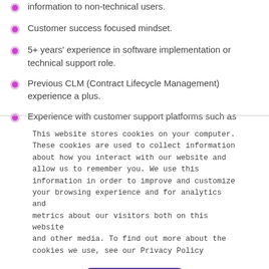information to non-technical users.
Customer success focused mindset.
5+ years' experience in software implementation or technical support role.
Previous CLM (Contract Lifecycle Management) experience a plus.
Experience with customer support platforms such as
This website stores cookies on your computer. These cookies are used to collect information about how you interact with our website and allow us to remember you. We use this information in order to improve and customize your browsing experience and for analytics and metrics about our visitors both on this website and other media. To find out more about the cookies we use, see our Privacy Policy
Accept